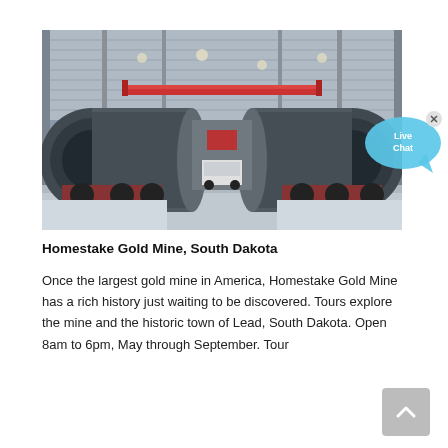[Figure (photo): Industrial warehouse interior showing two large cylindrical mining mill drums/rotary kilns facing toward the camera from left and right sides, with a crane overhead, red bridge crane beam in background, and a truck visible in the center background. Concrete floor, metal roof with skylights.]
Homestake Gold Mine, South Dakota
Once the largest gold mine in America, Homestake Gold Mine has a rich history just waiting to be discovered. Tours explore the mine and the historic town of Lead, South Dakota. Open 8am to 6pm, May through September. Tour